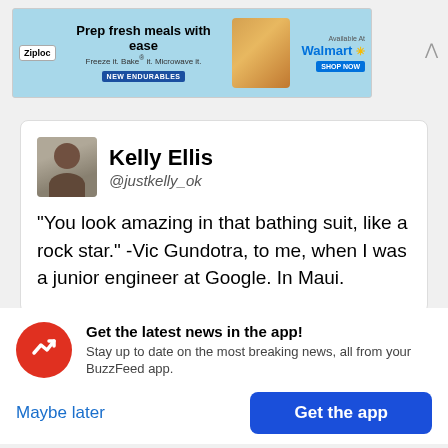[Figure (screenshot): Ziploc advertisement banner: 'Prep fresh meals with ease. Freeze it. Bake it. Microwave it. NEW ENDURABLES. Available at Walmart.']
[Figure (screenshot): Tweet by Kelly Ellis (@justkelly_ok) with profile photo. Tweet text: '"You look amazing in that bathing suit, like a rock star." -Vic Gundotra, to me, when I was a junior engineer at Google. In Maui.']
Get the latest news in the app! Stay up to date on the most breaking news, all from your BuzzFeed app.
Maybe later
Get the app